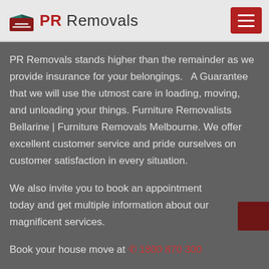PR Removals
PR Removals stands higher than the remainder as we provide insurance for your belongings.   A Guarantee that we will use the utmost care in loading, moving, and unloading your things. Furniture Removalists Bellarine | Furniture Removals Melbourne. We offer excellent customer service and pride ourselves on customer satisfaction in every situation.
We also invite you to book an appointment today and get multiple information about our magnificent services.
Book your house move at ☎ 1800 870 300
Want to know our prices – CLICK HERE